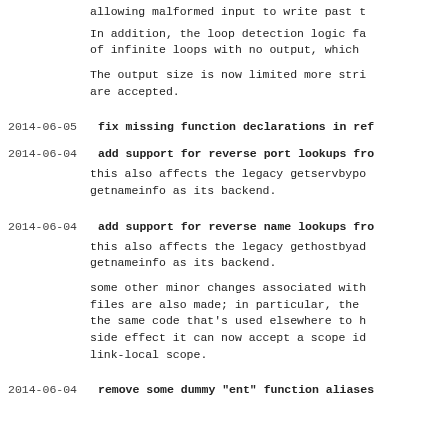allowing malformed input to write past t
In addition, the loop detection logic fa of infinite loops with no output, which
The output size is now limited more stri are accepted.
2014-06-05  fix missing function declarations in ref
2014-06-04  add support for reverse port lookups fro
this also affects the legacy getservbypo getnameinfo as its backend.
2014-06-04  add support for reverse name lookups fro
this also affects the legacy gethostbyad getnameinfo as its backend.
some other minor changes associated with files are also made; in particular, the the same code that's used elsewhere to h side effect it can now accept a scope id link-local scope.
2014-06-04  remove some dummy "ent" function aliases